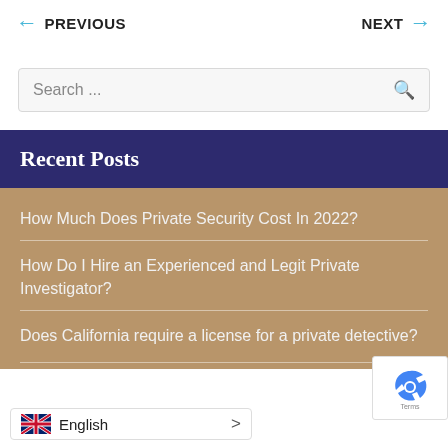← PREVIOUS    NEXT →
Search ...
Recent Posts
How Much Does Private Security Cost In 2022?
How Do I Hire an Experienced and Legit Private Investigator?
Does California require a license for a private detective?